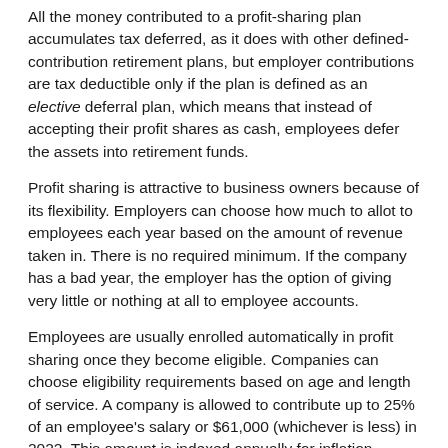All the money contributed to a profit-sharing plan accumulates tax deferred, as it does with other defined-contribution retirement plans, but employer contributions are tax deductible only if the plan is defined as an elective deferral plan, which means that instead of accepting their profit shares as cash, employees defer the assets into retirement funds.
Profit sharing is attractive to business owners because of its flexibility. Employers can choose how much to allot to employees each year based on the amount of revenue taken in. There is no required minimum. If the company has a bad year, the employer has the option of giving very little or nothing at all to employee accounts.
Employees are usually enrolled automatically in profit sharing once they become eligible. Companies can choose eligibility requirements based on age and length of service. A company is allowed to contribute up to 25% of an employee's salary or $61,000 (whichever is less) in 2022. This amount is indexed annually for inflation.